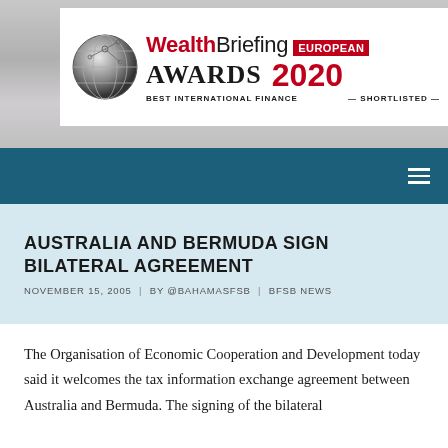[Figure (logo): WealthBriefing European Awards 2020 – Best International Finance – Shortlisted banner with globe logo]
AUSTRALIA AND BERMUDA SIGN BILATERAL AGREEMENT
NOVEMBER 15, 2005  |  BY @BAHAMASFSB  |  BFSB NEWS
The Organisation of Economic Cooperation and Development today said it welcomes the tax information exchange agreement between Australia and Bermuda. The signing of the bilateral